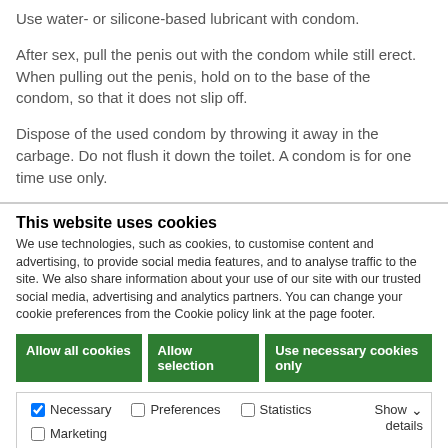Use water- or silicone-based lubricant with condom.
After sex, pull the penis out with the condom while still erect. When pulling out the penis, hold on to the base of the condom, so that it does not slip off.
Dispose of the used condom by throwing it away in the carbage. Do not flush it down the toilet. A condom is for one time use only.
This website uses cookies
We use technologies, such as cookies, to customise content and advertising, to provide social media features, and to analyse traffic to the site. We also share information about your use of our site with our trusted social media, advertising and analytics partners. You can change your cookie preferences from the Cookie policy link at the page footer.